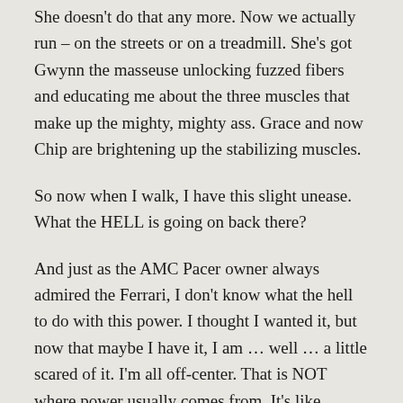She doesn't do that any more. Now we actually run – on the streets or on a treadmill. She's got Gwynn the masseuse unlocking fuzzed fibers and educating me about the three muscles that make up the mighty, mighty ass. Grace and now Chip are brightening up the stabilizing muscles.
So now when I walk, I have this slight unease. What the HELL is going on back there?
And just as the AMC Pacer owner always admired the Ferrari, I don't know what the hell to do with this power. I thought I wanted it, but now that maybe I have it, I am … well … a little scared of it. I'm all off-center. That is NOT where power usually comes from. It's like walking while someone behind you is continually pushing you